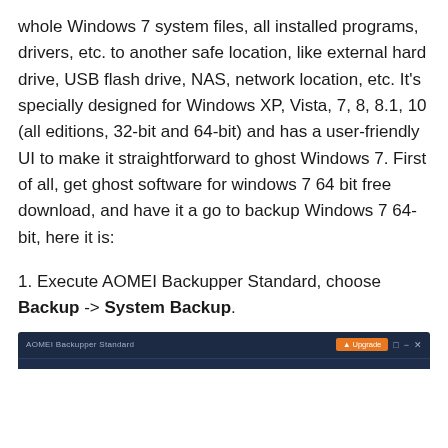whole Windows 7 system files, all installed programs, drivers, etc. to another safe location, like external hard drive, USB flash drive, NAS, network location, etc. It's specially designed for Windows XP, Vista, 7, 8, 8.1, 10 (all editions, 32-bit and 64-bit) and has a user-friendly UI to make it straightforward to ghost Windows 7. First of all, get ghost software for windows 7 64 bit free download, and have it a go to backup Windows 7 64-bit, here it is:
1. Execute AOMEI Backupper Standard, choose Backup -> System Backup.
[Figure (screenshot): Screenshot of AOMEI Backupper Standard application title bar showing the program name on the left and an orange Upgrade button plus window control buttons on the right, on a dark navy background.]